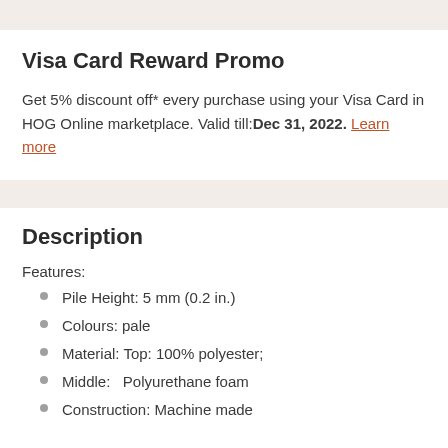Visa Card Reward Promo
Get 5% discount off* every purchase using your Visa Card in HOG Online marketplace. Valid till:Dec 31, 2022. Learn more
Description
Features:
Pile Height: 5 mm (0.2 in.)
Colours: pale
Material: Top: 100% polyester;
Middle:   Polyurethane foam
Construction: Machine made